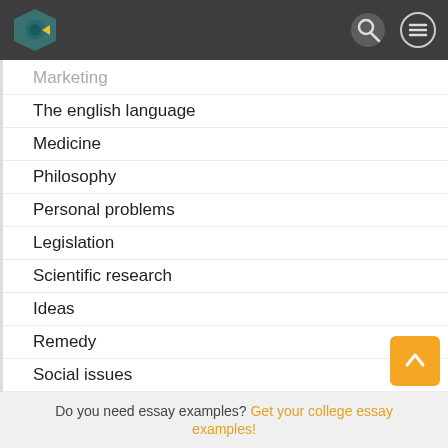Website header with logo and navigation icons
Marketing
The english language
Medicine
Philosophy
Personal problems
Legislation
Scientific research
Ideas
Remedy
Social issues
Interpersonal issues
Skill essays
Financing
Offense
Do you need essay examples? Get your college essay examples!